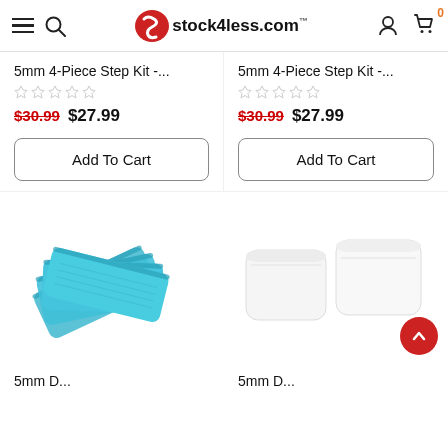stock4less.com
5mm 4-Piece Step Kit -...
5mm 4-Piece Step Kit -...
$30.99  $27.99
$30.99  $27.99
Add To Cart
Add To Cart
[Figure (photo): Blue foam step kit pads fanned out]
[Figure (photo): White foam step kit pads side by side]
5mm D...
5mm D...